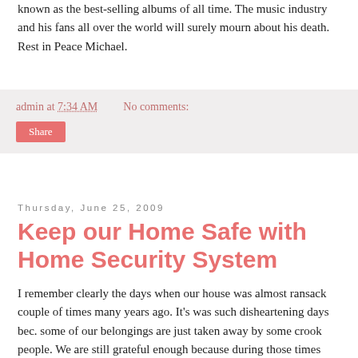known as the best-selling albums of all time. The music industry and his fans all over the world will surely mourn about his death. Rest in Peace Michael.
admin at 7:34 AM    No comments:
Share
Thursday, June 25, 2009
Keep our Home Safe with Home Security System
I remember clearly the days when our house was almost ransack couple of times many years ago. It's was such disheartening days bec. some of our belongings are just taken away by some crook people. We are still grateful enough because during those times because we are not at home and nobody is hurt. I don't know what I can feel and do when that happens. No matter how much we try to shield our home from people with criminal minds we can never just sit around and just hope they will not enter our homes. These